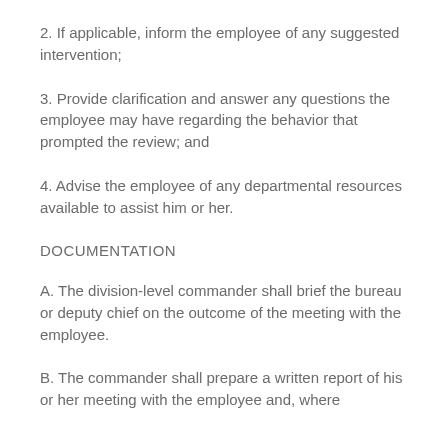2. If applicable, inform the employee of any suggested intervention;
3. Provide clarification and answer any questions the employee may have regarding the behavior that prompted the review; and
4. Advise the employee of any departmental resources available to assist him or her.
DOCUMENTATION
A. The division-level commander shall brief the bureau or deputy chief on the outcome of the meeting with the employee.
B. The commander shall prepare a written report of his or her meeting with the employee and, where